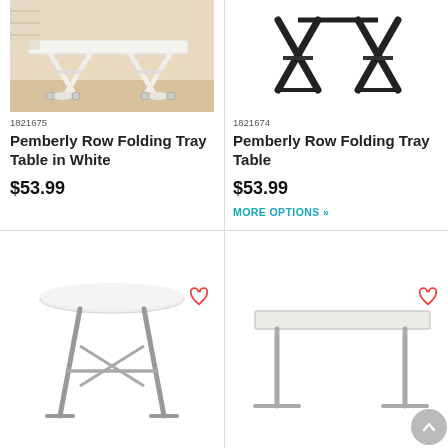[Figure (photo): White folding tray table with X-frame legs, product photo on wood floor background]
1821675
Pemberly Row Folding Tray Table in White
$53.99
[Figure (photo): Black folding tray table with X-frame legs, product photo on white background]
1821674
Pemberly Row Folding Tray Table
$53.99
MORE OPTIONS »
[Figure (photo): Round white top tall folding bar height table with metal X-frame legs]
[Figure (photo): Rectangular white folding table with metal T-frame legs]